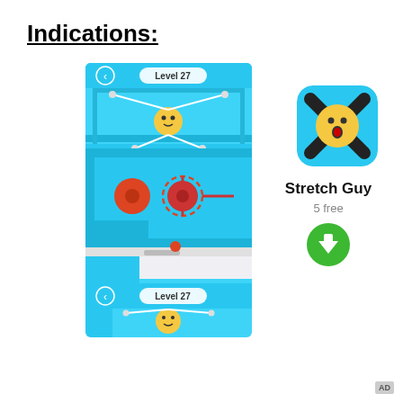Indications:
[Figure (screenshot): Mobile game screenshot of Stretch Guy showing Level 27 gameplay with a smiley face character connected by elastic bands, red spinning obstacles, and a small red ball on a platform. Below shows a second instance of Level 27 with the character at bottom.]
[Figure (illustration): App icon for Stretch Guy: rounded square with cyan/blue background, yellow shocked emoji face with arms stretched in an X shape by black bands.]
Stretch Guy
5 free
[Figure (other): Green circular download button with white downward arrow icon.]
AD